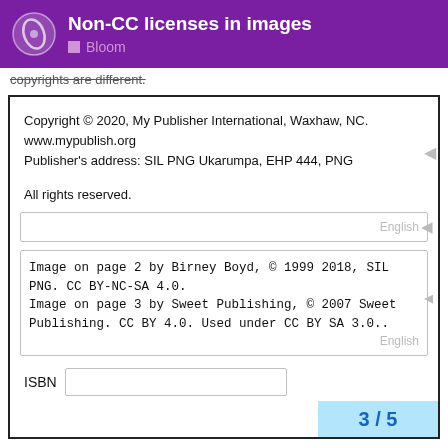Non-CC licenses in images — Bloom
copyrights are different.
Copyright © 2020, My Publisher International, Waxhaw, NC.
www.mypublish.org
Publisher's address: SIL PNG Ukarumpa, EHP 444, PNG

All rights reserved.
Image on page 2 by Birney Boyd, © 1999 2018, SIL PNG. CC BY-NC-SA 4.0.
Image on page 3 by Sweet Publishing, © 2007 Sweet Publishing. CC BY 4.0. Used under CC BY SA 3.0..
ISBN
3 / 5